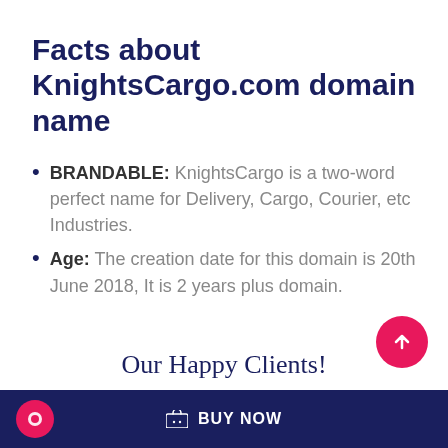Facts about KnightsCargo.com domain name
BRANDABLE: KnightsCargo is a two-word perfect name for Delivery, Cargo, Courier, etc Industries.
Age: The creation date for this domain is 20th June 2018, It is 2 years plus domain.
Our Happy Clients!
BUY NOW